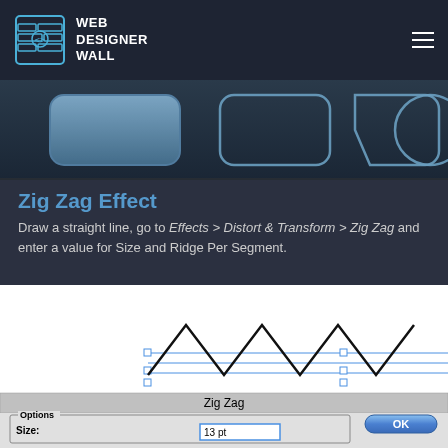WEB DESIGNER WALL
[Figure (screenshot): Partial screenshot of shape tool options in a design application, showing rounded rectangles and button shapes]
Zig Zag Effect
Draw a straight line, go to Effects > Distort & Transform > Zig Zag and enter a value for Size and Ridge Per Segment.
[Figure (screenshot): Adobe Illustrator canvas showing a zig zag line with selection handles, and the Zig Zag effect dialog box with Options section showing Size: 13 pt and OK/Cancel buttons]